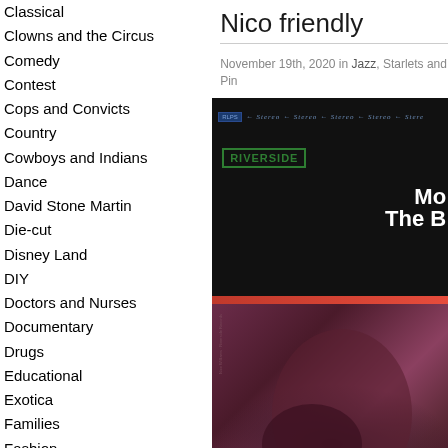Classical
Clowns and the Circus
Comedy
Contest
Cops and Convicts
Country
Cowboys and Indians
Dance
David Stone Martin
Die-cut
Disney Land
DIY
Doctors and Nurses
Documentary
Drugs
Educational
Exotica
Families
Fashion
Fitness
Flaming
Nico friendly
November 19th, 2020 in Jazz, Starlets and Pin
[Figure (photo): Album cover showing Riverside Records label in green, with bold white text 'Mo' and 'The B' on dark background, red stripe dividing the cover, and close-up photo of a person's face on dark maroon/purple background]